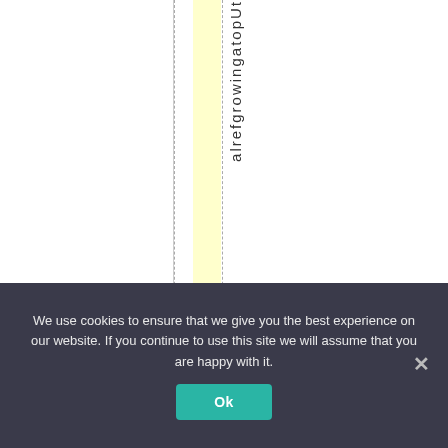[Figure (other): A webpage fragment showing a table or spreadsheet with a yellow highlighted column bar and dashed vertical guide lines. Vertical rotated text reading 'alrefgrowingatopUt' runs down along the right edge of the highlighted column.]
We use cookies to ensure that we give you the best experience on our website. If you continue to use this site we will assume that you are happy with it.
Ok